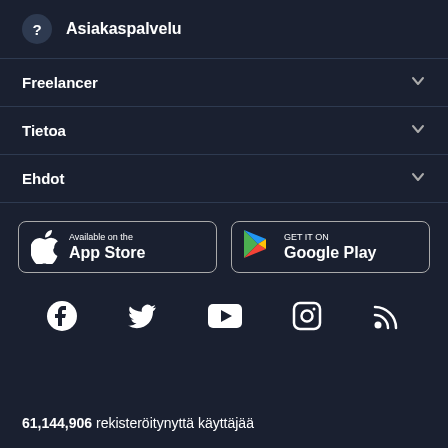Asiakaspalvelu
Freelancer
Tietoa
Ehdot
[Figure (screenshot): App Store and Google Play download buttons]
[Figure (infographic): Social media icons: Facebook, Twitter, YouTube, Instagram, RSS]
61,144,906 rekisteröitynyttä käyttäjää